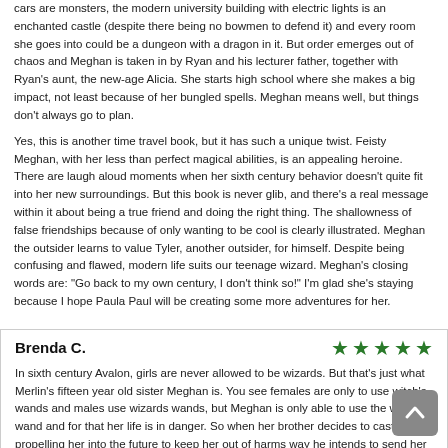cars are monsters, the modern university building with electric lights is an enchanted castle (despite there being no bowmen to defend it) and every room she goes into could be a dungeon with a dragon in it. But order emerges out of chaos and Meghan is taken in by Ryan and his lecturer father, together with Ryan's aunt, the new-age Alicia. She starts high school where she makes a big impact, not least because of her bungled spells. Meghan means well, but things don't always go to plan.

Yes, this is another time travel book, but it has such a unique twist. Feisty Meghan, with her less than perfect magical abilities, is an appealing heroine. There are laugh aloud moments when her sixth century behavior doesn't quite fit into her new surroundings. But this book is never glib, and there's a real message within it about being a true friend and doing the right thing. The shallowness of false friendships because of only wanting to be cool is clearly illustrated. Meghan the outsider learns to value Tyler, another outsider, for himself. Despite being confusing and flawed, modern life suits our teenage wizard. Meghan's closing words are: "Go back to my own century, I don't think so!" I'm glad she's staying because I hope Paula Paul will be creating some more adventures for her.
Brenda C.
[Figure (other): 5 green stars rating]
In sixth century Avalon, girls are never allowed to be wizards. But that's just what Merlin's fifteen year old sister Meghan is. You see females are only to use witch's wands and males use wizards wands, but Meghan is only able to use the wizard wand and for that her life is in danger. So when her brother decides to cast a spell propelling her into the future to keep her out of harms way he intends to send her to eleventh century Amorika, but magic being what it is Merlin makes a mistake and instead Meghan finds herself in 21st century America. When Ryan Kingsolver finds her and takes her to his father, they decide the best thing for Meghan is to try and integrate her into normal life which includes high school. Can a sixth century wizard ever fit in?

The author really captures the difficulties that Meghan faces as she tries to fit into twenty-first century life. It really was a whole new world for Meghan to learn and while she was often confused by new things, she really caught on fast. The author really captured her bewilderment of not only modern things, but Meghan's confusion of the language, especially American slang. It was often quite funny as she tried to figure out what the slang terms meant.I thought the feelings Meghan expressed as she became the most popular girl in school, only to have to make some tough decisions about how...